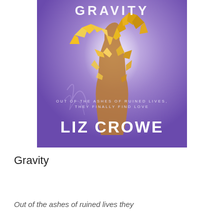[Figure (illustration): Book cover for 'Gravity' by Liz Crowe. Purple gradient background with a shattered brown wine bottle in gold/amber tones at the center. Text on cover reads 'GRAVITY' at top, 'OUT OF THE ASHES OF RUINED LIVES, THEY FINALLY FIND LOVE' in the middle, and 'LIZ CROWE' in large white letters at the bottom.]
Gravity
Out of the ashes of ruined lives they